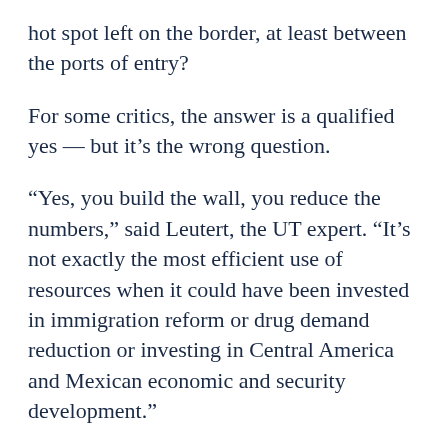hot spot left on the border, at least between the ports of entry?
For some critics, the answer is a qualified yes — but it's the wrong question.
“Yes, you build the wall, you reduce the numbers,” said Leutert, the UT expert. “It’s not exactly the most efficient use of resources when it could have been invested in immigration reform or drug demand reduction or investing in Central America and Mexican economic and security development.”
David Shirk, a Mexico expert at the University of San Diego, throws in another: Unless the United States truly lowers its demand for cheap foreign